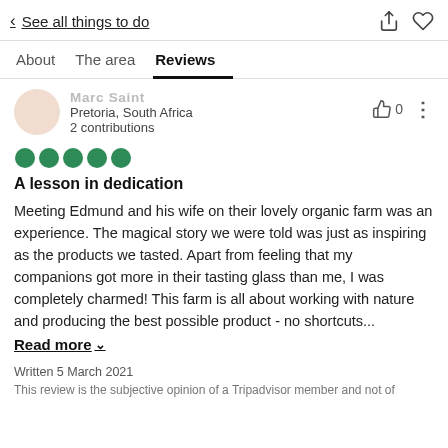< See all things to do
About   The area   Reviews
Marc Saint
Pretoria, South Africa
2 contributions
[Figure (other): Five green filled circles representing a 5-bubble rating]
A lesson in dedication
Meeting Edmund and his wife on their lovely organic farm was an experience. The magical story we were told was just as inspiring as the products we tasted. Apart from feeling that my companions got more in their tasting glass than me, I was completely charmed! This farm is all about working with nature and producing the best possible product - no shortcuts...
Read more ∨
Written 5 March 2021
This review is the subjective opinion of a Tripadvisor member and not of